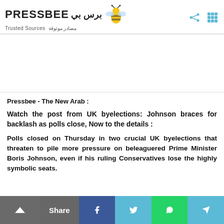PRESSBEE | Trusted Sources
[Figure (other): Advertisement / blank white space area]
Pressbee - The New Arab :
Watch the post from UK byelections: Johnson braces for backlash as polls close, Now to the details :
Polls closed on Thursday in two crucial UK byelections that threaten to pile more pressure on beleaguered Prime Minister Boris Johnson, even if his ruling Conservatives lose the highly symbolic seats.
[Figure (infographic): Share overlay bar with Back to top button, Share label, Facebook, Twitter, WhatsApp, Telegram buttons]